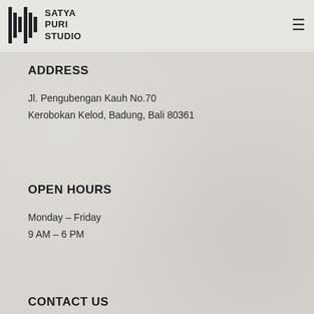SATYA PURI STUDIO
ADDRESS
Jl. Pengubengan Kauh No.70
Kerobokan Kelod, Badung, Bali 80361
OPEN HOURS
Monday – Friday
9 AM – 6 PM
CONTACT US